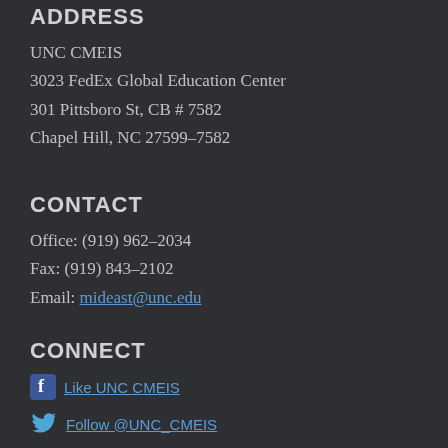ADDRESS
UNC CMEIS
3023 FedEx Global Education Center
301 Pittsboro St, CB # 7582
Chapel Hill, NC 27599-7582
CONTACT
Office: (919) 962-2034
Fax: (919) 843-2102
Email: mideast@unc.edu
CONNECT
Like UNC CMEIS
Follow @UNC_CMEIS